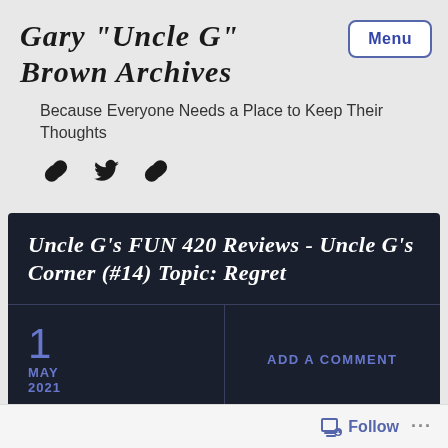Gary "Uncle G" Brown Archives
Because Everyone Needs a Place to Keep Their Thoughts
[Figure (illustration): Three social media icon links: chain link icon, Twitter bird icon, chain link icon]
Uncle G's FUN 420 Reviews - Uncle G's Corner (#14) Topic: Regret
1 MAY 2021
ADD A COMMENT
Follow ...